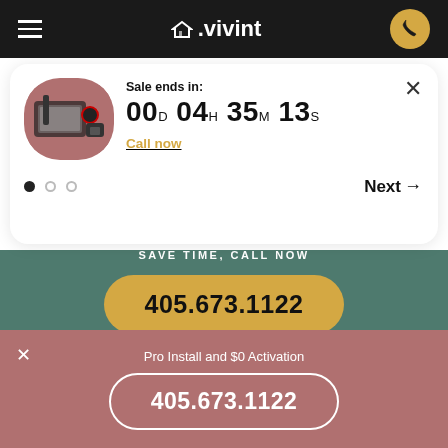vivint
Sale ends in: 00D 04H 35M 13S
Call now
Next →
SAVE TIME, CALL NOW
405.673.1122
Pro Install and $0 Activation
405.673.1122